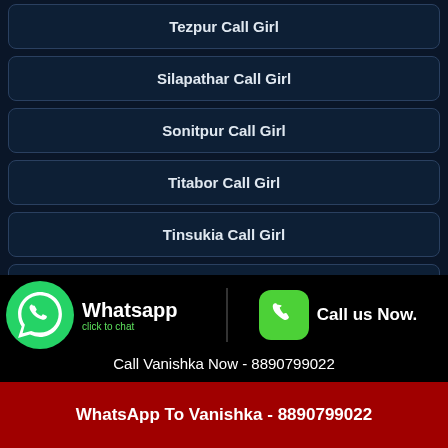Tezpur Call Girl
Silapathar Call Girl
Sonitpur Call Girl
Titabor Call Girl
Tinsukia Call Girl
Umrangso Call Girl
Mathura-vrindavan Call Girl
[Figure (infographic): WhatsApp click to chat banner with green WhatsApp logo on left, 'Whatsapp click to chat' text, divider, green phone icon button on right with 'Call us Now.' text, and 'Call Vanishka Now - 8890799022' below]
WhatsApp To Vanishka - 8890799022